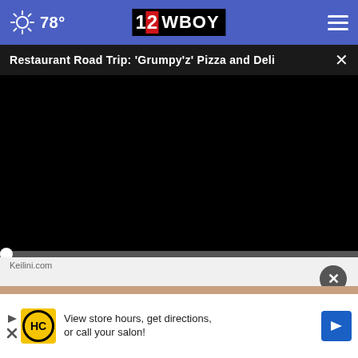78° | 12 WBOY
Restaurant Road Trip: 'Grumpy’z' Pizza and Deli
[Figure (screenshot): Black video player area showing no content loaded]
00:00
Keilini.com
View store hours, get directions, or call your salon!